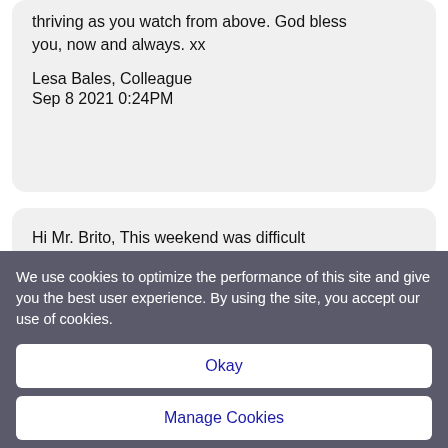thriving as you watch from above. God bless you, now and always. xx
Lesa Bales, Colleague
Sep 8 2021 0:24PM
Hi Mr. Brito, This weekend was difficult seeing all the videos and pictures on TV and social media. I live in Dallas, TX and work for
We use cookies to optimize the performance of this site and give you the best user experience. By using the site, you accept our use of cookies.
Okay
Manage Cookies